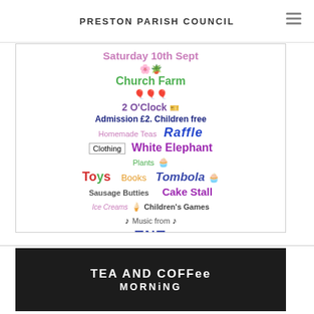PRESTON PARISH COUNCIL
[Figure (infographic): Village fete flyer for Saturday 10th Sept at Church Farm, 2 O'Clock. Admission £2, Children free. Features: Homemade Teas, Raffle, Clothing, White Elephant, Plants, Toys, Books, Tombola, Sausage Butties, Cake Stall, Ice Creams, Children's Games, Music from TNT. Decorative bunting at bottom.]
[Figure (infographic): Dark background card reading TEA AND COFFEE MORNING]